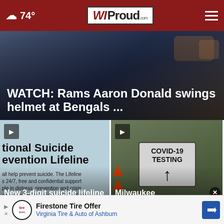☁ 74° | WIProud.com
[Figure (screenshot): Hero image showing dark background with cars/traffic, overlaid with headline text: WATCH: Rams Aaron Donald swings helmet at Bengals ...]
WATCH: Rams Aaron Donald swings helmet at Bengals ...
[Figure (screenshot): Video thumbnail showing National Suicide Prevention Lifeline poster with text partially visible: 'tional Suicide evention Lifeline' and body text about preventing suicide. Play button in corner.]
New 3-digit suicide lifeline c '988' is live...
[Figure (photo): Video thumbnail showing COVID-19 TESTING sign with an upward arrow, orange traffic cones nearby. Play button in corner.]
Milwaukee issues ma... advisory...
Firestone Tire Offer
Virginia Tire & Auto of Ashburn